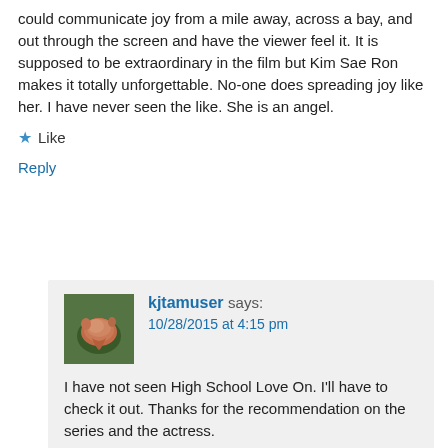could communicate joy from a mile away, across a bay, and out through the screen and have the viewer feel it. It is supposed to be extraordinary in the film but Kim Sae Ron makes it totally unforgettable. No-one does spreading joy like her. I have never seen the like. She is an angel.
★ Like
Reply
kjtamuser says:
10/28/2015 at 4:15 pm
I have not seen High School Love On. I'll have to check it out. Thanks for the recommendation on the series and the actress.
★ Like